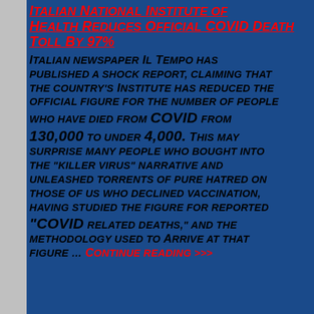Italian National Institute of Health Reduces Official COVID Death Toll By 97%
Italian newspaper Il Tempo has published a shock report, claiming that the country's Institute has reduced the official figure for the number of people who have died from COVID from 130,000 to under 4,000. This may surprise many people who bought into the "killer virus" narrative and unleashed torrents of pure hatred on those of us who declined vaccination, having studied the figure for reported "COVID related deaths," and the methodology used to arrive at that figure ... Continue reading >>>